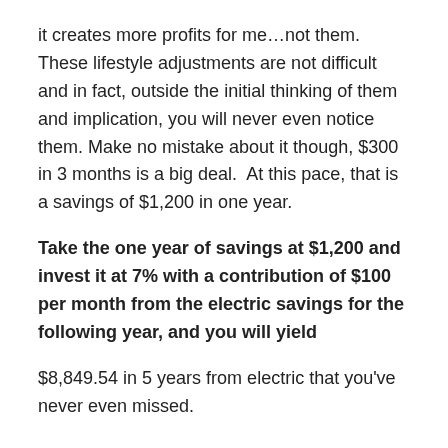it creates more profits for me…not them.  These lifestyle adjustments are not difficult and in fact, outside the initial thinking of them and implication, you will never even notice them. Make no mistake about it though, $300 in 3 months is a big deal.  At this pace, that is a savings of $1,200 in one year.
Take the one year of savings at $1,200 and invest it at 7% with a contribution of $100 per month from the electric savings for the following year, and you will yield
$8,849.54 in 5 years from electric that you've never even missed.